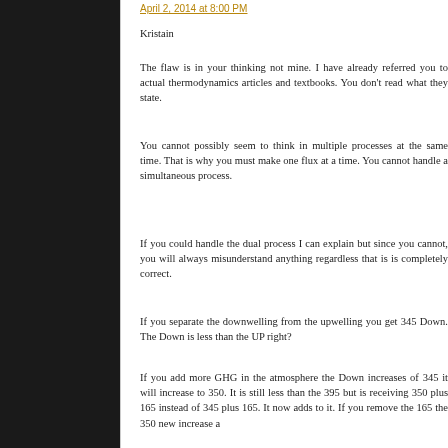April 2, 2014 at 8:00 PM
Kristain
The flaw is in your thinking not mine. I have already referred you to actual thermodynamics articles and textbooks. You don't read what they state.
You cannot possibly seem to think in multiple processes at the same time. That is why you must make one flux at a time. You cannot handle a simultaneous process.
If you could handle the dual process I can explain but since you cannot, you will always misunderstand anything regardless that is is completely correct.
If you separate the downwelling from the upwelling you get 345 Down. The Down is less than the UP right?
If you add more GHG in the atmosphere the Down increases of 345 it will increase to 350. It is still less than the 395 but is receiving 350 plus 165 instead of 345 plus 165. It now adds to it. If you remove the 165 the 350 new increase a